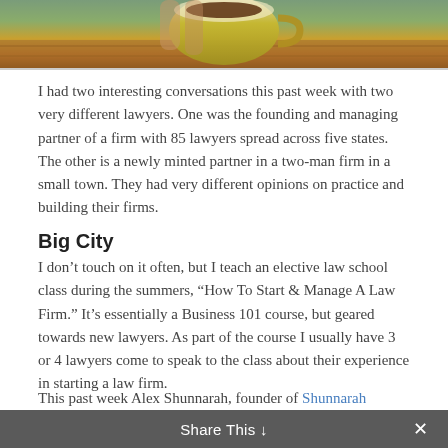[Figure (photo): A hand holding a yellow coffee mug photographed from above, on a wooden surface with greenery in the background.]
I had two interesting conversations this past week with two very different lawyers. One was the founding and managing partner of a firm with 85 lawyers spread across five states. The other is a newly minted partner in a two-man firm in a small town. They had very different opinions on practice and building their firms.
Big City
I don't touch on it often, but I teach an elective law school class during the summers, “How To Start & Manage A Law Firm.” It’s essentially a Business 101 course, but geared towards new lawyers. As part of the course I usually have 3 or 4 lawyers come to speak to the class about their experience in starting a law firm.
This past week Alex Shunnarah, founder of Shunnarah
Share This ⌄  ×